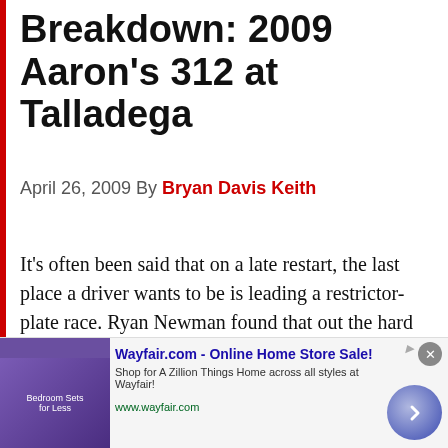Breakdown: 2009 Aaron's 312 at Talladega
April 26, 2009 By Bryan Davis Keith
It's often been said that on a late restart, the last place a driver wants to be is leading a restrictor-plate race. Ryan Newman found that out the hard way on Saturday. Despite playing the ride in the back strategy to perfection all day long after winning the pole Friday and leading at the white-flag …
[Figure (other): Red 'Read more' button]
[Figure (other): Wayfair.com advertisement banner with online home store sale offer]